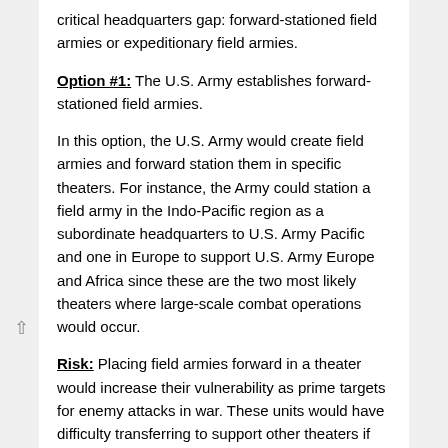critical headquarters gap: forward-stationed field armies or expeditionary field armies.
Option #1: The U.S. Army establishes forward-stationed field armies.
In this option, the U.S. Army would create field armies and forward station them in specific theaters. For instance, the Army could station a field army in the Indo-Pacific region as a subordinate headquarters to U.S. Army Pacific and one in Europe to support U.S. Army Europe and Africa since these are the two most likely theaters where large-scale combat operations would occur.
Risk: Placing field armies forward in a theater would increase their vulnerability as prime targets for enemy attacks in war. These units would have difficulty transferring to support other theaters if the need arose. The cost of new facilities, equipment, and personnel would be high and would rely on host nation contract support.
Gain: Creating forward stationed field armies allows the